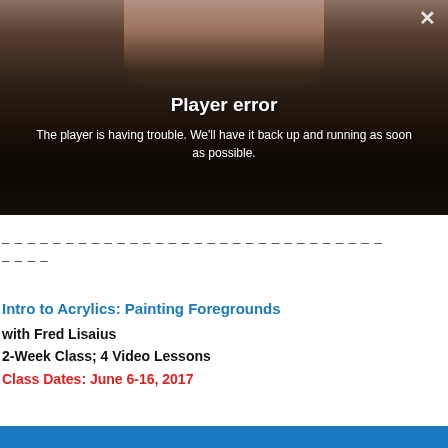[Figure (screenshot): Video player showing a hand holding a brush over a dark canvas, with a player error overlay message. A close (X) button is visible in the top right.]
Player error
The player is having trouble. We'll have it back up and running as soon as possible.
_ _ _ _ _ _ _ _ _ _ _ _ _ _ _ _ _ _ _ _ _ _ _ _ _ _ _ _ _ _
_ _ _ _
Intro to Acrylics: Painting Foregrounds
with Fred Lisaius
2-Week Class; 4 Video Lessons
Class Dates: June 6-16, 2017